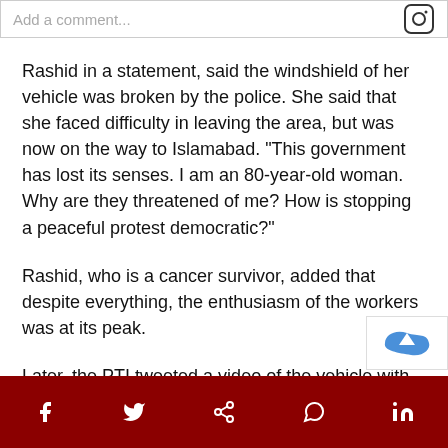Rashid in a statement, said the windshield of her vehicle was broken by the police. She said that she faced difficulty in leaving the area, but was now on the way to Islamabad. “This government has lost its senses. I am an 80-year-old woman. Why are they threatened of me? How is stopping a peaceful protest democratic?”
Rashid, who is a cancer survivor, added that despite everything, the enthusiasm of the workers was at its peak.
Later, the PTI tweeted a video of the vehicle with its windshield broken as Rashid was in the driver’s seat.
Social share bar with icons: Facebook, Twitter, Share, WhatsApp, LinkedIn